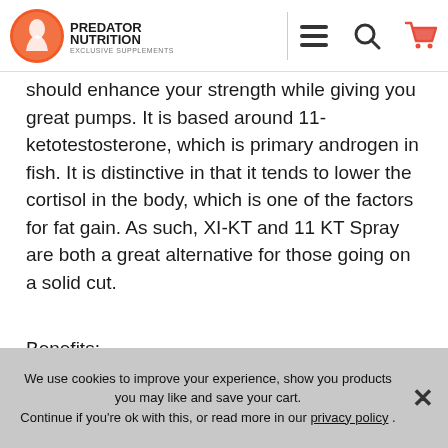Predator Nutrition Exclusive Supplements — navigation bar with logo, menu, search, and cart icons
should enhance your strength while giving you great pumps. It is based around 11-ketotestosterone, which is primary androgen in fish. It is distinctive in that it tends to lower the cortisol in the body, which is one of the factors for fat gain. As such, XI-KT and 11 KT Spray are both a great alternative for those going on a solid cut.
Benefits:
11-ketotestosterone is effective in burning fat reserves while putting your body into an anabolic state at the same time. Therefore, burning fat and building muscle simultaneously
We use cookies to improve your experience, show you products you may like and save your cart.
Continue if you're ok with this, or read more in our privacy policy .